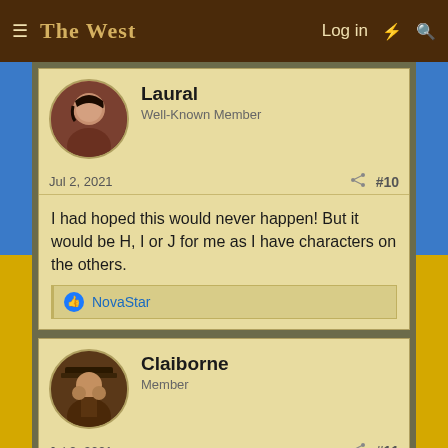The West — Log in
Laural
Well-Known Member
Jul 2, 2021 #10
I had hoped this would never happen! But it would be H, I or J for me as I have characters on the others.
NovaStar
Claiborne
Member
Jul 2, 2021 #11
Laural, if you come to Juarez I've got a town for you.
wyindywidualizowany
Well-Known Member